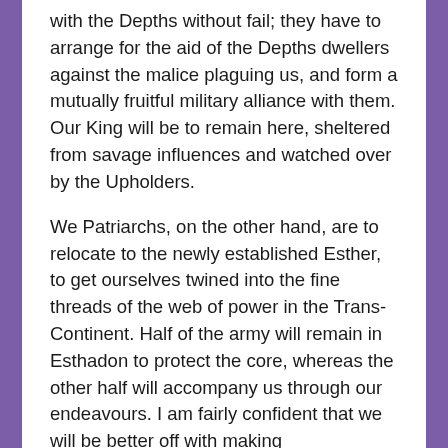with the Depths without fail; they have to arrange for the aid of the Depths dwellers against the malice plaguing us, and form a mutually fruitful military alliance with them. Our King will be to remain here, sheltered from savage influences and watched over by the Upholders.
We Patriarchs, on the other hand, are to relocate to the newly established Esther, to get ourselves twined into the fine threads of the web of power in the Trans-Continent. Half of the army will remain in Esthadon to protect the core, whereas the other half will accompany us through our endeavours. I am fairly confident that we will be better off with making arrangements from there than from a country surrounded – it is true, Ladies and Lords, we may have to consider a case, when an alliance with